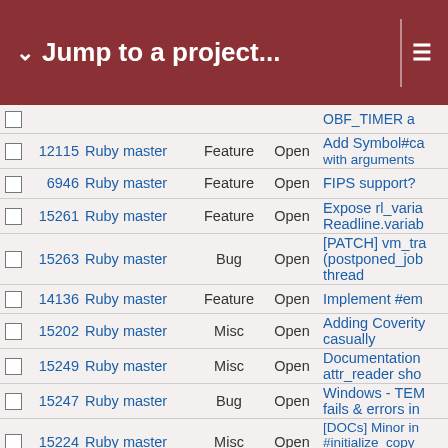Jump to a project...
|  | # | Project | Tracker | Status | Subject |
| --- | --- | --- | --- | --- | --- |
|  | 12115 | Ruby master | Feature | Open | Add Symbol#ca with arguments |
|  | 6946 | Ruby master | Feature | Open | FIPS support? |
|  | 15261 | Ruby master | Feature | Open | Expose rl_varia Readline.variab |
|  | 15263 | Ruby master | Bug | Open | [PATCH] vm_tr (postponed_job thread |
|  | 14136 | Ruby master | Feature | Open | Implement #em |
|  | 15202 | Ruby master | Misc | Open | Adding Coverity casually |
|  | 15249 | Ruby master | Misc | Open | Documentation attr_reader sho |
|  | 15247 | Ruby master | Bug | Open | Windows - TEM fails & errors in |
|  | 15224 | Ruby master | Misc | Open | [DOCs] Minor in #initialize_copy 2.5.1/Array.htm |
|  | 15112 | Ruby master | Feature | Open | Introducing the expr.inspect`. |